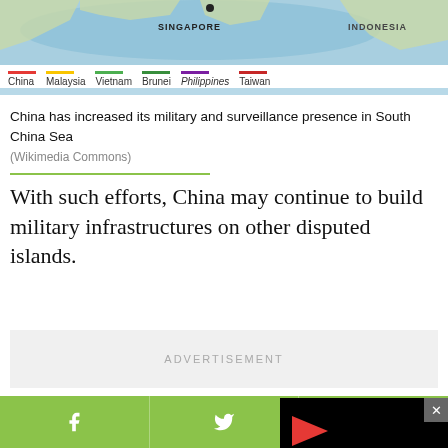[Figure (map): Map showing South China Sea region with Singapore and Indonesia labels, and a legend showing country color codes for China, Malaysia, Vietnam, Brunei, Philippines, Taiwan]
China has increased its military and surveillance presence in South China Sea
(Wikimedia Commons)
With such efforts, China may continue to build military infrastructures on other disputed islands.
ADVERTISEMENT
China Aims to Threaten Nearby Countries
The US commander believes that China is widening its offensive
[Figure (screenshot): Video overlay with close button (x), red play button arrow, and loading spinner circle on black background]
Social share icons: Facebook, Twitter, WhatsApp